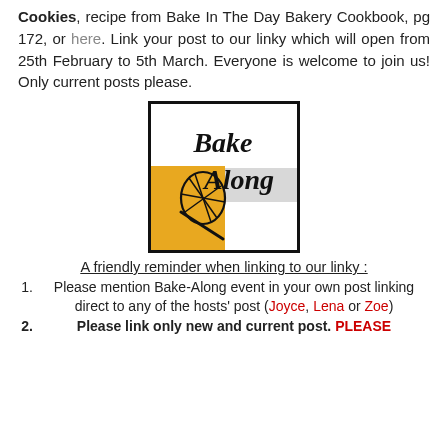Cookies, recipe from Bake In The Day Bakery Cookbook, pg 172, or here. Link your post to our linky which will open from 25th February to 5th March. Everyone is welcome to join us! Only current posts please.
[Figure (logo): Bake Along logo: white and grey horizontal band background with cursive black 'Bake Along' text, golden-yellow square with a black whisk illustration overlapping the lower-left area.]
A friendly reminder when linking to our linky :
1. Please mention Bake-Along event in your own post linking direct to any of the hosts' post (Joyce, Lena or Zoe)
2. Please link only new and current post. PLEASE